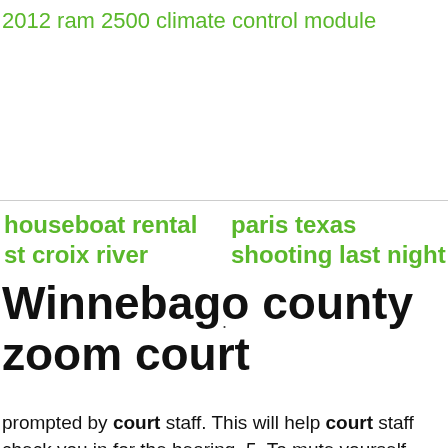2012 ram 2500 climate control module
houseboat rental st croix river
paris texas shooting last night
Winnebago county zoom court
prompted by court staff. This will help court staff check you in for the hearing. 5. To mute yourself press *6 on your key pad. 6. To get the
napa
valley jazz
getaway